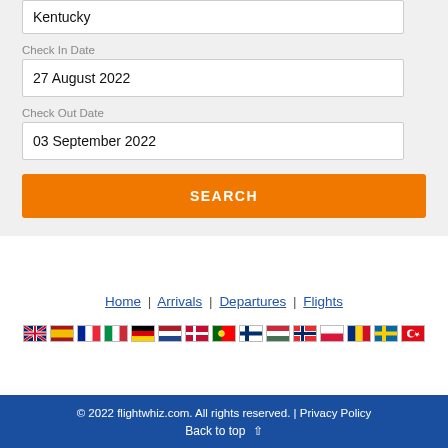Kentucky
Check In Date
27 August 2022
Check Out Date
03 September 2022
SEARCH
Home | Arrivals | Departures | Flights
[Figure (infographic): Row of country flags: UK, Spain, France, Italy, Germany, Netherlands, Denmark, Portugal, Finland, Hungary, Norway, Poland, Romania, Sweden, Turkey]
© 2022 flightwhiz.com. All rights reserved. | Privacy Policy
Back to top ↑